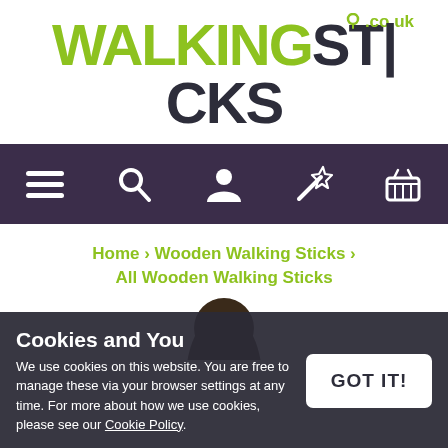[Figure (logo): WalkingSticks.co.uk logo with green and dark text]
[Figure (other): Dark purple navigation bar with icons: hamburger menu, search, user, wand/sparkle, shopping basket]
Home > Wooden Walking Sticks > All Wooden Walking Sticks
[Figure (photo): Partial view of a dark wooden walking stick handle at the top]
Cookies and You
We use cookies on this website. You are free to manage these via your browser settings at any time. For more about how we use cookies, please see our Cookie Policy.
GOT IT!